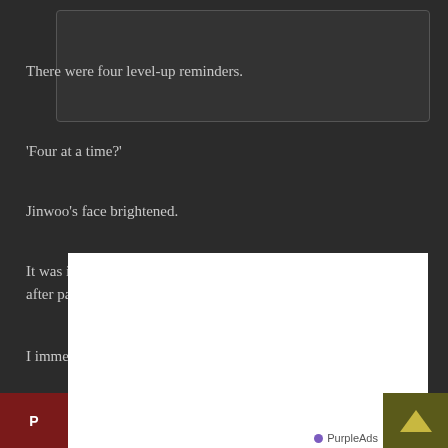[Figure (other): Dark rounded rectangle dialog box outline at top of page]
There were four level-up reminders.
'Four at a time?'
Jinwoo's face brightened.
It was incredible to think how much slower the level-up speed was after passing the 90th level.
I immediately checked the status window.
[Level: 97] The level was up just 4.
'Great
[Figure (other): White advertisement overlay box covering lower portion of page]
P
PurpleAds